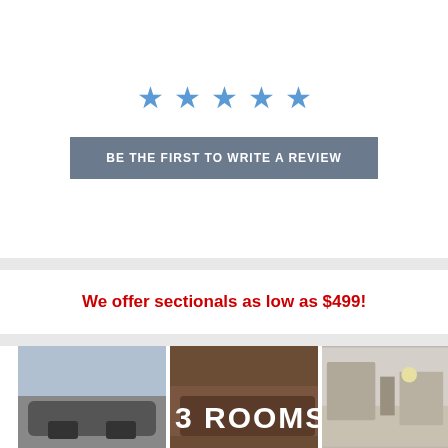[Figure (other): Five blue star icons in a row representing a rating system]
BE THE FIRST TO WRITE A REVIEW
We offer sectionals as low as $499!
[Figure (photo): Three side-by-side furniture/room images. Left: gray sectional sofa in a modern room. Center: dark brown sectional sofa with large '3 ROOMS' text overlay. Right: living room interior with wall unit and lamp.]